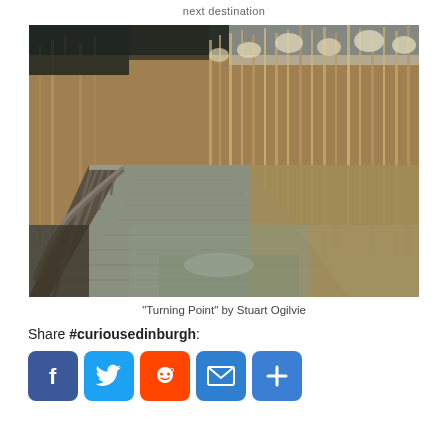next destination
[Figure (photo): A wooden boardwalk curving to the left through tall golden-brown reeds or grasses, photographed from a low angle on an overcast day.]
“Turning Point” by Stuart Ogilvie
Share #curiousedinburgh:
[Figure (infographic): Social sharing buttons: Facebook (blue), Twitter (blue), Reddit (orange-red), Email (blue), Share/More (blue with plus sign)]